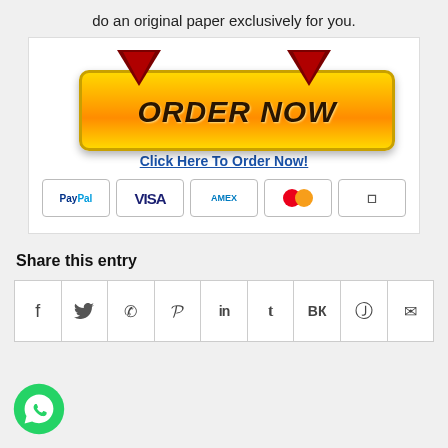do an original paper exclusively for you.
[Figure (illustration): ORDER NOW button with golden gradient background and two dark red downward arrows on top, with 'Click Here To Order Now!' link text and payment icons (PayPal, VISA, AMEX, Mastercard, and another card) below]
Share this entry
[Figure (infographic): Row of social share icon buttons: Facebook (f), Twitter (bird/y), WhatsApp (phone), Pinterest (P), LinkedIn (in), Tumblr (t), VK (VK), Reddit (alien), Email (envelope)]
[Figure (illustration): WhatsApp green circle icon with phone handset in white at bottom left]